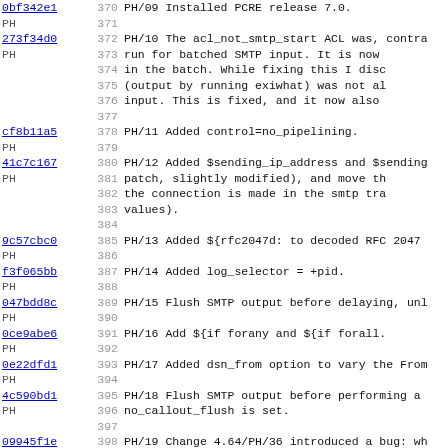0bf342e1 370 PH/09 Installed PCRE release 7.0.
PH 371
273f34d0 372 PH/10 The acl_not_smtp_start ACL was, contra...
PH 373 run for batched SMTP input. It is now...
 374 in the batch. While fixing this I disc...
 375 (output by running exiwhat) was not al...
 376 input. This is fixed, and it now also...
 377
cf8b11a5 378 PH/11 Added control=no_pipelining.
PH 379
41c7c167 380 PH/12 Added $sending_ip_address and $sending...
PH 381 patch, slightly modified), and move th...
 382 the connection is made in the smtp tra...
 383 values).
 384
9c57cbc0 385 PH/13 Added ${rfc2047d: to decoded RFC 2047...
PH 386
f3f065bb 387 PH/14 Added log_selector = +pid.
PH 388
047bdd8c 389 PH/15 Flush SMTP output before delaying, unl...
PH 390
0ce9abe6 391 PH/16 Add ${if forany and ${if forall.
PH 392
0e22dfd1 393 PH/17 Added dsn_from option to vary the From...
PH 394
4c590bd1 395 PH/18 Flush SMTP output before performing a...
PH 396 no_callout_flush is set.
 397
09945f1e 398 PH/19 Change 4.64/PH/36 introduced a bug: wh...
PH 399 was true (the default) a successful de...
 400 item, thus causing premature timeout o...
 401 fixed.
 402